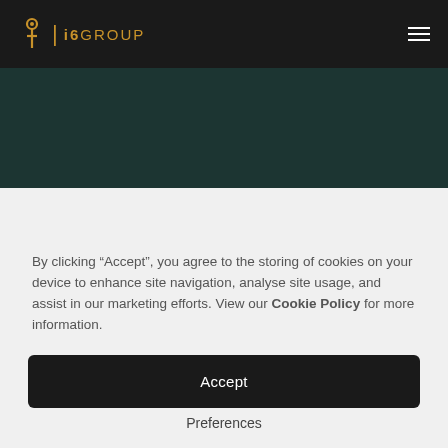i6 GROUP
[Figure (other): Dark teal hero/banner section below navigation bar]
By clicking “Accept”, you agree to the storing of cookies on your device to enhance site navigation, analyse site usage, and assist in our marketing efforts. View our Cookie Policy for more information.
Accept
Preferences